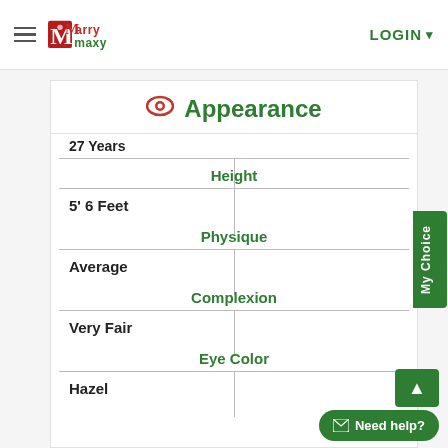MarryMaxy — LOGIN
Appearance
27 Years
Height
5' 6 Feet
Physique
Average
Complexion
Very Fair
Eye Color
Hazel